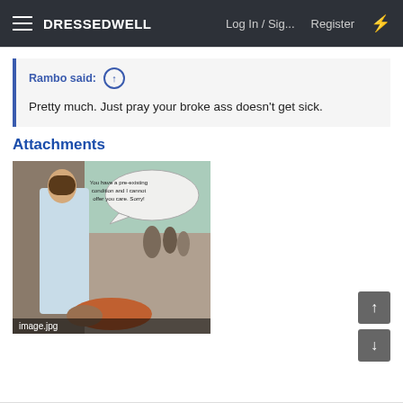DRESSEDWELL  Log In / Sig...  Register
Rambo said: ↑

Pretty much. Just pray your broke ass doesn't get sick.
Attachments
[Figure (photo): A religious-themed cartoon image showing a robed figure leaning over a person lying on the ground, with a speech bubble reading: 'You have a pre-existing condition and I cannot offer you care. Sorry!' with a cobblestone path and crowd in background. Filename label: image.jpg]